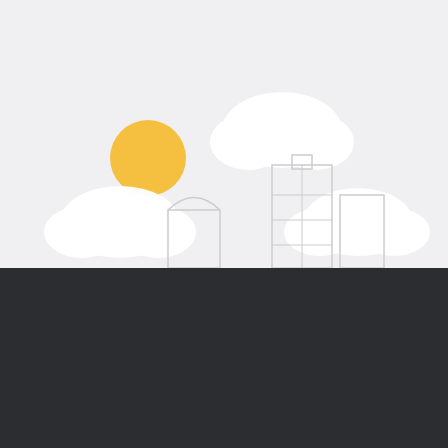brings you the business-class features you need to get an edge on the competition.
[Figure (illustration): City skyline illustration with buildings, clouds, and a yellow sun on a light grey background]
MediaFire uses cookies to provide you with a personalized browsing experience. By continuing to use this site, you agree to our Privacy Policy..